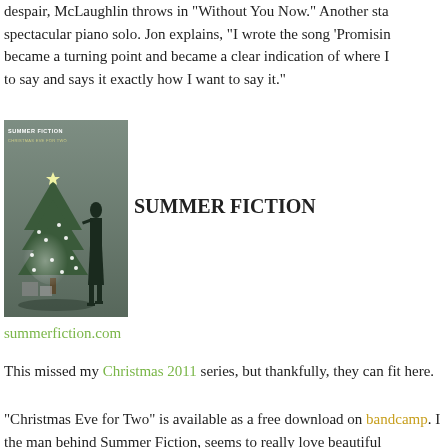despair, McLaughlin throws in "Without You Now." Another sta spectacular piano solo. Jon explains, "I wrote the song 'Promisin became a turning point and became a clear indication of where I to say and says it exactly how I want to say it."
[Figure (photo): Album cover for Summer Fiction - Christmas Eve for Two. Black and white photo of a woman silhouetted next to a lit Christmas tree. Text in upper left reads SUMMER FICTION / CHRISTMAS EVE FOR TWO.]
SUMMER FICTION
summerfiction.com
This missed my Christmas 2011 series, but thankfully, they can fit here.
"Christmas Eve for Two" is available as a free download on bandcamp. I the man behind Summer Fiction, seems to really love beautiful photograp